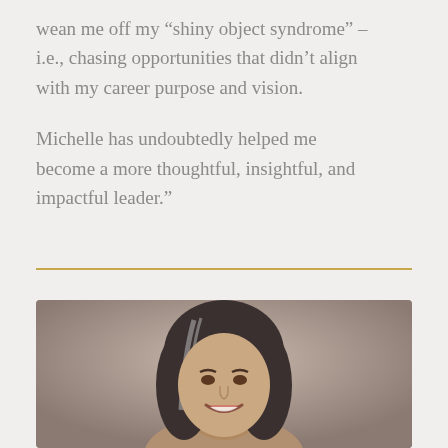wean me off my “shiny object syndrome” – i.e., chasing opportunities that didn’t align with my career purpose and vision.

Michelle has undoubtedly helped me become a more thoughtful, insightful, and impactful leader.”
[Figure (photo): Professional headshot of a smiling woman with long dark hair streaked with gray, against a neutral brown/beige background.]